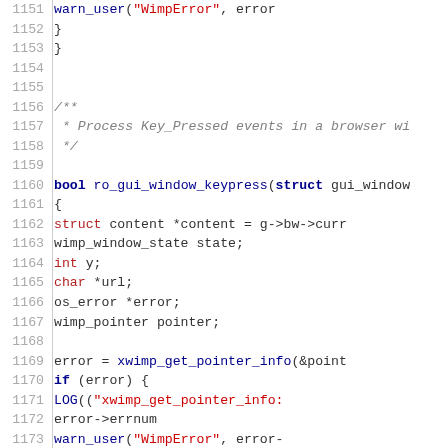Source code listing, lines 1151-1180, C function ro_gui_window_keypress